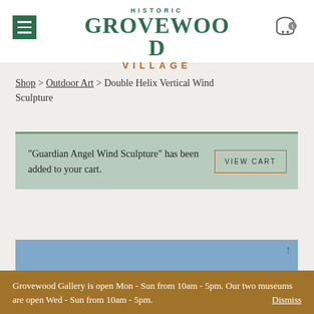HISTORIC GROVEWOOD VILLAGE
Shop > Outdoor Art > Double Helix Vertical Wind Sculpture
"Guardian Angel Wind Sculpture" has been added to your cart.
VIEW CART
[Figure (screenshot): Blue image strip at bottom of product area]
Grovewood Gallery is open Mon - Sun from 10am - 5pm. Our two museums are open Wed - Sun from 10am - 5pm. Dismiss